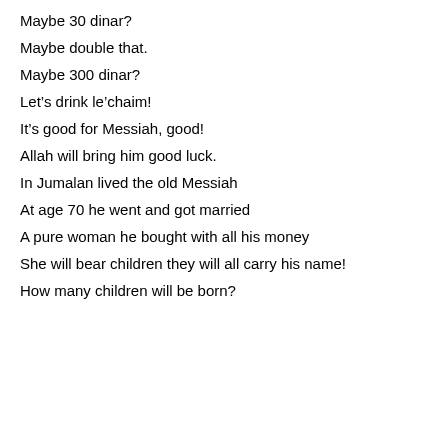Maybe 30 dinar?
Maybe double that.
Maybe 300 dinar?
Let’s drink le’chaim!
It’s good for Messiah, good!
Allah will bring him good luck.
In Jumalan lived the old Messiah
At age 70 he went and got married
A pure woman he bought with all his money
She will bear children they will all carry his name!
How many children will be born?